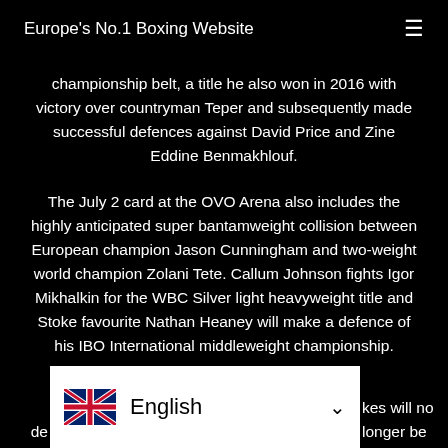Europe's No.1 Boxing Website
championship belt, a title he also won in 2016 with victory over countryman Teper and subsequently made successful defences against David Price and Zine Eddine Benmakhlouf.
The July 2 card at the OVO Arena also includes the highly anticipated super bantamweight collision between European champion Jason Cunningham and two-weight world champion Zolani Tete. Callum Johnson fights Igor Mikhalkin for the WBC Silver light heavyweight title and Stoke favourite Nathan Heaney will make a defence of his IBO International middleweight championship.
…kes will no longer be de… Silver lightweight title …